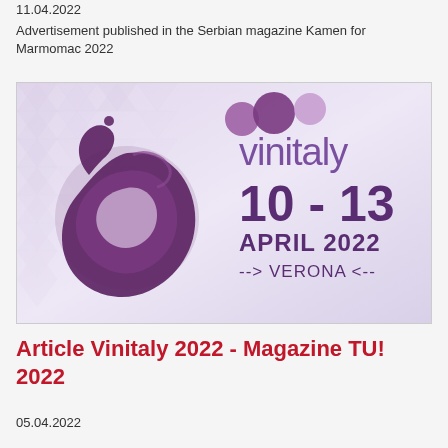11.04.2022
Advertisement published in the Serbian magazine Kamen for Marmomac 2022
[Figure (illustration): Vinitaly 2022 advertisement banner showing the Vinitaly logo with purple wine splash heart shape, text '10 - 13 APRIL 2022 --> VERONA <--' on a pink/purple geometric triangle background]
Article Vinitaly 2022 - Magazine TU! 2022
05.04.2022